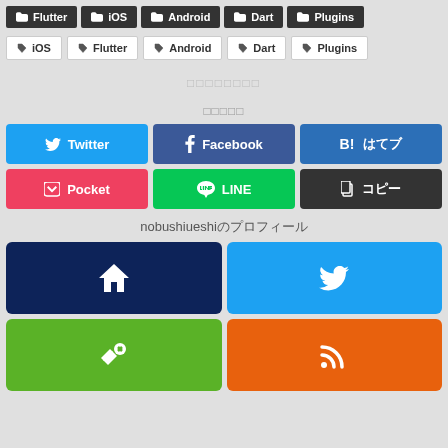Flutter iOS Android Dart Plugins (folder tags)
iOS Flutter Android Dart Plugins (outline tags)
（Japanese text - blurred/placeholder）
シェアする
Twitter
Facebook
B! はてブ
Pocket
LINE
コピー
nobushiueshiのプロフィール
Home
Twitter
Feedly
RSS